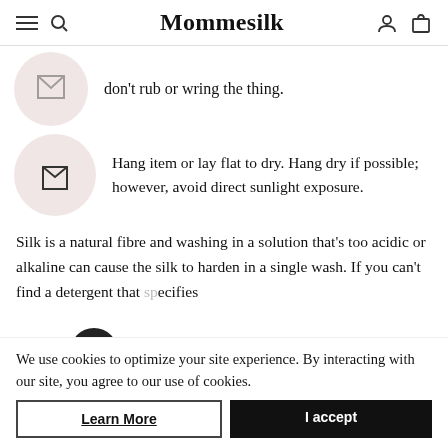Mommesilk
don't rub or wring the thing.
Hang item or lay flat to dry. Hang dry if possible; however, avoid direct sunlight exposure.
Silk is a natural fibre and washing in a solution that’s too acidic or alkaline can cause the silk to harden in a single wash. If you can't find a detergent that specifies ph level then just go for one that specifies silk. Do not use bleach products.
Another important factor is water temperature. Even just slightly above 30 degrees Centigrade or 85
We use cookies to optimize your site experience. By interacting with our site, you agree to our use of cookies.